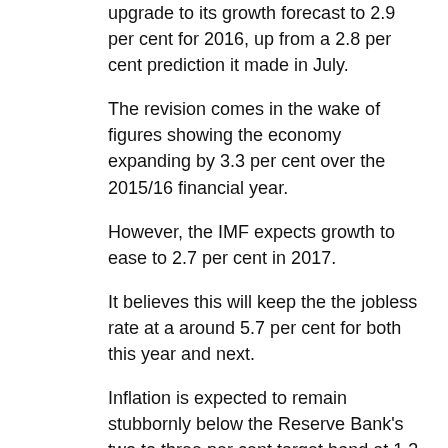upgrade to its growth forecast to 2.9 per cent for 2016, up from a 2.8 per cent prediction it made in July.
The revision comes in the wake of figures showing the economy expanding by 3.3 per cent over the 2015/16 financial year.
However, the IMF expects growth to ease to 2.7 per cent in 2017.
It believes this will keep the the jobless rate at a around 5.7 per cent for both this year and next.
Inflation is expected to remain stubbornly below the Reserve Bank's two to three per cent target band at 1.3 per cent in 2016, and only edges up to 2.1 per cent in 2017.
Otherwise, the near 300-page document makes barely any specific commentary on Australia, but it does note coal prices have soared 32 per cent since February.